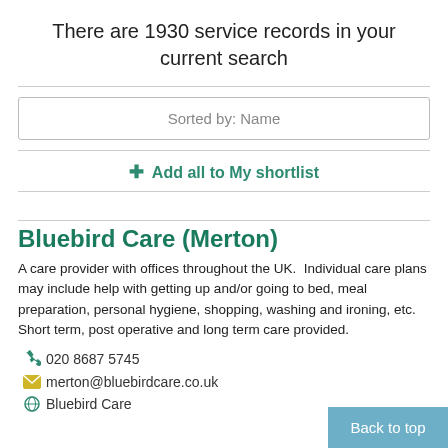There are 1930 service records in your current search
Sorted by: Name
+ Add all to My shortlist
Bluebird Care (Merton)
A care provider with offices throughout the UK.  Individual care plans may include help with getting up and/or going to bed, meal preparation, personal hygiene, shopping, washing and ironing, etc.  Short term, post operative and long term care provided.
020 8687 5745
merton@bluebirdcare.co.uk
Bluebird Care